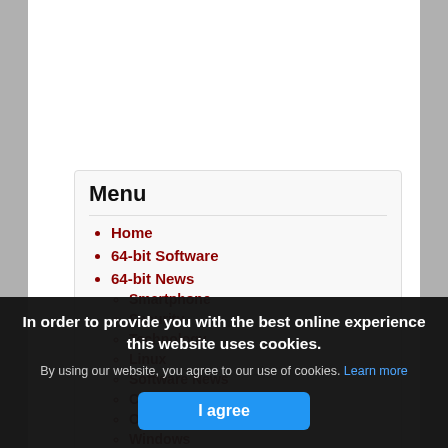Menu
Home
64-bit Software
64-bit News
Smartphone
Security
Technology
Linux
Software News
Compatibility
Office
Windows
32-bit to 64-bit
In order to provide you with the best online experience this website uses cookies.
By using our website, you agree to our use of cookies. Learn more
I agree